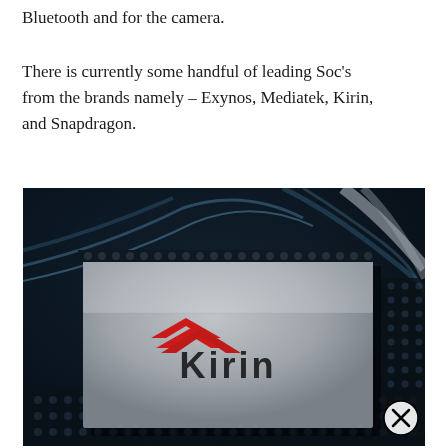Bluetooth and for the camera.
There is currently some handful of leading Soc's from the brands namely – Exynos, Mediatek, Kirin, and Snapdragon.
[Figure (photo): Close-up render of a Huawei Kirin processor chip on a circuit board with a dark, tech-styled background. The chip is silver/grey with the red Kirin logo arrow and 'Kirin' text in dark lettering. A circular close button with an X is visible in the bottom-right corner.]